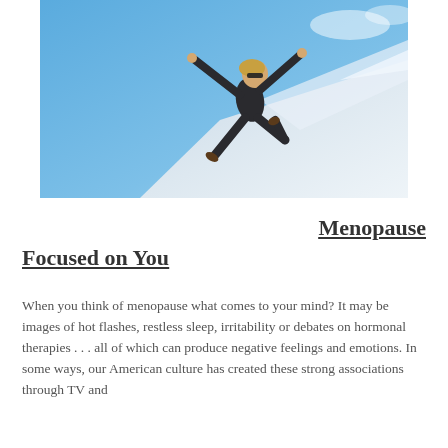[Figure (photo): A woman with blonde hair wearing dark clothes and sunglasses, arms and legs spread wide, appearing to be skydiving or jumping against a bright blue sky with snowy mountain landscape below.]
Menopause Focused on You
When you think of menopause what comes to your mind? It may be images of hot flashes, restless sleep, irritability or debates on hormonal therapies . . . all of which can produce negative feelings and emotions. In some ways, our American culture has created these strong associations through TV and